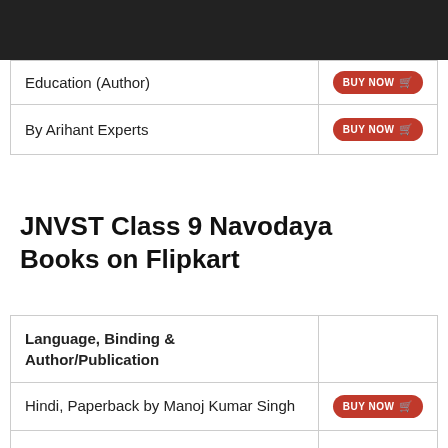| Language, Binding & Author/Publication |  |
| --- | --- |
| Education (Author) | BUY NOW |
| By Arihant Experts | BUY NOW |
JNVST Class 9 Navodaya Books on Flipkart
| Language, Binding & Author/Publication |  |
| --- | --- |
| Hindi, Paperback by Manoj Kumar Singh | BUY NOW |
| English, Paperback by J. N. Sharma & Rajesh Kumar | BUY NOW |